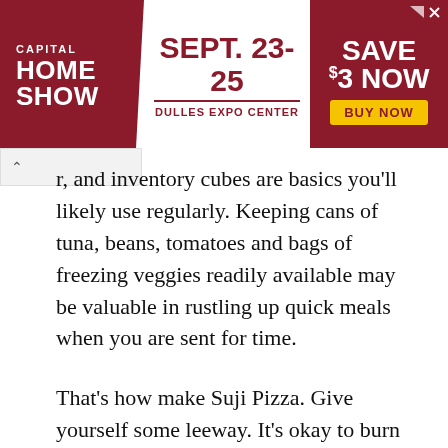[Figure (infographic): Capital Home Show advertisement banner: red background with white text 'CAPITAL HOME SHOW', white center panel with red text 'SEPT. 23-25' and 'DULLES EXPO CENTER', right panel with white text 'SAVE $3 NOW' and yellow 'BUY NOW' button]
r, and inventory cubes are basics you'll likely use regularly. Keeping cans of tuna, beans, tomatoes and bags of freezing veggies readily available may be valuable in rustling up quick meals when you are sent for time.
That’s how make Suji Pizza. Give yourself some leeway. It’s okay to burn off the grain or over-cook the veggies. After having a several attempts it can get simpler, quicker, and tastier!